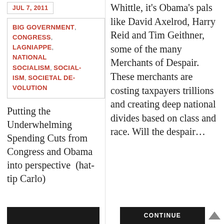JUL 7, 2011
BIG GOVERNMENT, CONGRESS, LAGNIAPPE, NATIONAL SOCIALISM, SOCIALISM, SOCIETAL DEVOLUTION
Putting the Underwhelming Spending Cuts from Congress and Obama into perspective (hat-tip Carlo)
Whittle, it's Obama's pals like David Axelrod, Harry Reid and Tim Geithner, some of the many Merchants of Despair. These merchants are costing taxpayers trillions and creating deep national divides based on class and race. Will the despair...